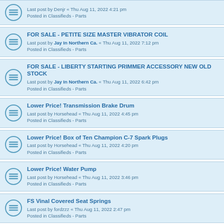Last post by Denjr « Thu Aug 11, 2022 4:21 pm
Posted in Classifieds - Parts
FOR SALE - PETITE SIZE MASTER VIBRATOR COIL
Last post by Jay In Northern Ca. « Thu Aug 11, 2022 7:12 pm
Posted in Classifieds - Parts
FOR SALE - LIBERTY STARTING PRIMMER ACCESSORY NEW OLD STOCK
Last post by Jay In Northern Ca. « Thu Aug 11, 2022 6:42 pm
Posted in Classifieds - Parts
Lower Price! Transmission Brake Drum
Last post by Horsehead « Thu Aug 11, 2022 4:45 pm
Posted in Classifieds - Parts
Lower Price! Box of Ten Champion C-7 Spark Plugs
Last post by Horsehead « Thu Aug 11, 2022 4:20 pm
Posted in Classifieds - Parts
Lower Price! Water Pump
Last post by Horsehead « Thu Aug 11, 2022 3:46 pm
Posted in Classifieds - Parts
FS Vinal Covered Seat Springs
Last post by fordzzz « Thu Aug 11, 2022 2:47 pm
Posted in Classifieds - Parts
Brass headlight rims
Last post by Melba Nolan « Thu Aug 11, 2022 12:17 pm
Posted in Classifieds - Parts
door latch
Last post by Melba Nolan « Thu Aug 11, 2022 11:59 am
Posted in Classifieds - Parts